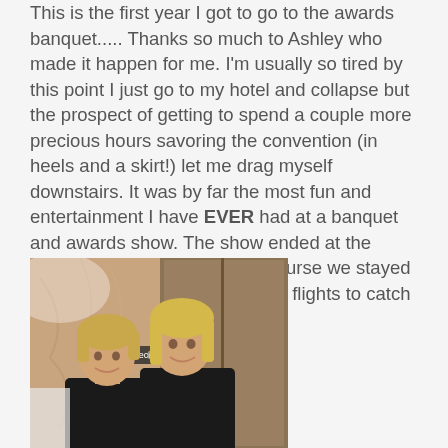This is the first year I got to go to the awards banquet..... Thanks so much to Ashley who made it happen for me. I'm usually so tired by this point I just go to my hotel and collapse but the prospect of getting to spend a couple more precious hours savoring the convention (in heels and a skirt!) let me drag myself downstairs. It was by far the most fun and entertainment I have EVER had at a banquet and awards show. The show ended at the sensible time of 10pm but of course we stayed up talking until past 2am…(with flights to catch the next morning!)
[Figure (photo): Two women smiling in front of a hotel elevator area with a 'Second Level' sign visible. Both wearing black outfits.]